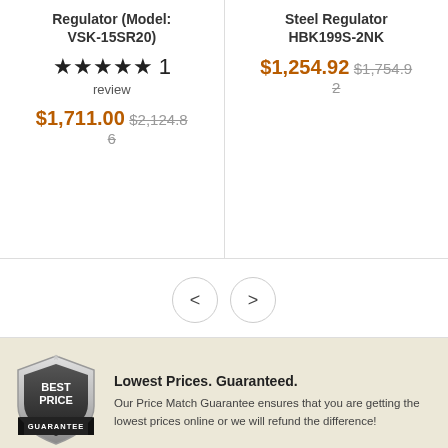Regulator (Model: VSK-15SR20)
★★★★★ 1 review
$1,711.00  $2,124.86
Steel Regulator HBK199S-2NK
$1,254.92  $1,754.92
[Figure (other): Navigation previous/next arrow buttons]
[Figure (other): Best Price Guarantee shield badge]
Lowest Prices. Guaranteed.
Our Price Match Guarantee ensures that you are getting the lowest prices online or we will refund the difference!
Secure Checko...
Message